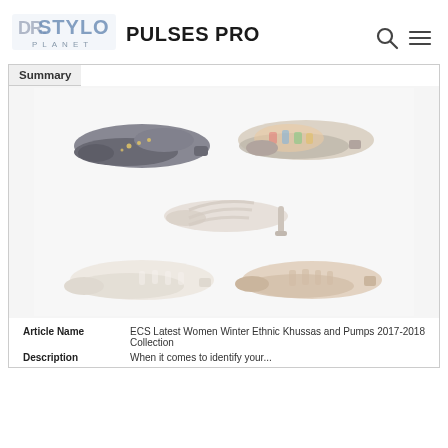[Figure (logo): Dr. Stylo Planet logo — stylized text in blue/grey with 'PLANET' below]
PULSES PRO
[Figure (other): Navigation icons: search magnifying glass and hamburger menu]
Summary
[Figure (photo): Collection of women's shoes including flats, strappy pumps with heel, and open-toe flats in various colors — ethnic khussas and pumps.]
| Article Name | ECS Latest Women Winter Ethnic Khussas and Pumps 2017-2018 Collection |
| Description | When it comes to identify your... |